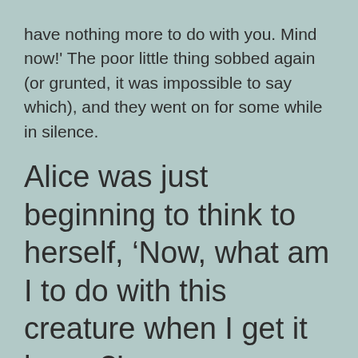have nothing more to do with you. Mind now!' The poor little thing sobbed again (or grunted, it was impossible to say which), and they went on for some while in silence.
Alice was just beginning to think to herself, ‘Now, what am I to do with this creature when I get it home?’
When it grunted again, so violently, that she looked down into its face in some alarm. This time there could be no mistake about it: it was